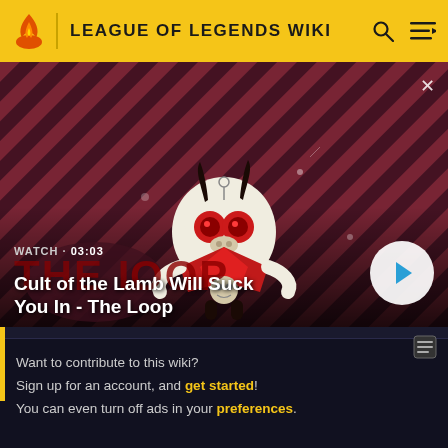LEAGUE OF LEGENDS WIKI
[Figure (screenshot): Video thumbnail showing Cult of the Lamb character on a red diagonal striped background with THE LOOP logo overlay. WATCH · 03:03 label shown.]
Cult of the Lamb Will Suck You In - The Loop
The following wards are available, temporarily during specific events or promotions, in the store or as loot vi...
Want to contribute to this wiki?
Sign up for an account, and get started!
You can even turn off ads in your preferences.